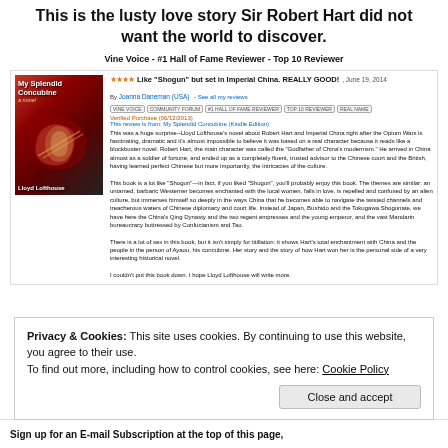This is the lusty love story Sir Robert Hart did not want the world to discover.
Vine Voice - #1 Hall of Fame Reviewer - Top 10 Reviewer
[Figure (illustration): Book cover of 'My Splendid Concubine, a novel' by Lloyd Lofthouse, showing a woman in colorful Imperial Chinese attire]
Like "Shogun" but set in Imperial China. REALLY GOOD!, June 19, 2014
By Joanna Daneman (USA) - See all my reviews
Verified Purchase (06/12/2013)
This review is from: My Splendid Concubine (Kindle Edition)
This was a huge surprise--Lloyd Lofthouse's novel about Robert Hart and Imperial China right after the Opium Wars is fascinating, dramatic and it's almost impossible to believe it was based on a real character because it reads like a blockbuster novel. Robert Hart, the main character was called the "Godfather of China's modernism." He arrived in China almost as a soldier of fortune, and ended up as a completely fluent, trusted advisor to the Chinese court and the British, having learned perfect Chinese but more importantly, the intricacies of the culture.

This book is a lot like "Shogun"—in fact, if you liked "Shogun", you'll probably enjoy this book. The themes are similar: an untamed, barbaric Westerner becomes enchanted with the local women, falls in love, is repelled and confused by an alien culture, but immerses himself so deeply in the ways China that he becomes able to navigate the twisted channels and treacherous waters of Chinese diplomacy and court life. Instead of Japan, Bushido and the Tokugawa Shogunate, we have here the China's Qing Dynasty and the two regent empresses and the young emperor, and the vast Mandarin bureaucracy buttressed by Confucianism and Tao.

There is a lot of sex in this book, but it isn't simply for titillation: it shows Hart's total enchantment with China and the people in the person of Ayaou, his concubine. Her story and the story of how Hart won her is the personal side of a very interesting historical novel.

I couldn't put this book down. I hope Lloyd Lofthouse will write more.
Privacy & Cookies: This site uses cookies. By continuing to use this website, you agree to their use.
To find out more, including how to control cookies, see here: Cookie Policy
Close and accept
Sign up for an E-mail Subscription at the top of this page,